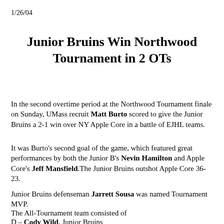1/26/04
Junior Bruins Win Northwood Tournament in 2 OTs
In the second overtime period at the Northwood Tournament finale on Sunday, UMass recruit Matt Burto scored to give the Junior Bruins a 2-1 win over NY Apple Core in a battle of EJHL teams.
It was Burto's second goal of the game, which featured great performances by both the Junior B's Nevin Hamilton and Apple Core's Jeff Mansfield.The Junior Bruins outshot Apple Core 36-23.
Junior Bruins defenseman Jarrett Sousa was named Tournament MVP.
The All-Tournament team consisted of
D – Cody Wild, Junior Bruins